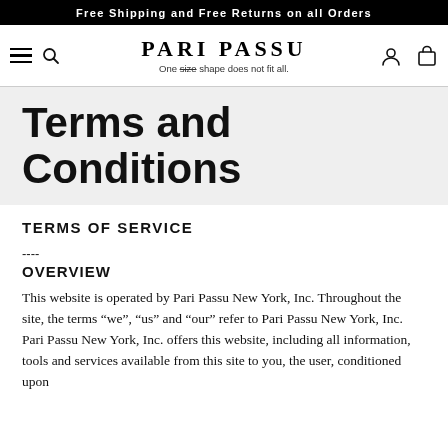Free Shipping and Free Returns on all Orders
[Figure (logo): Pari Passu logo with hamburger menu, search icon, user icon, and bag icon in navigation bar. Tagline: One size shape does not fit all.]
Terms and Conditions
TERMS OF SERVICE
----
OVERVIEW
This website is operated by Pari Passu New York, Inc. Throughout the site, the terms “we”, “us” and “our” refer to Pari Passu New York, Inc. Pari Passu New York, Inc. offers this website, including all information, tools and services available from this site to you, the user, conditioned upon